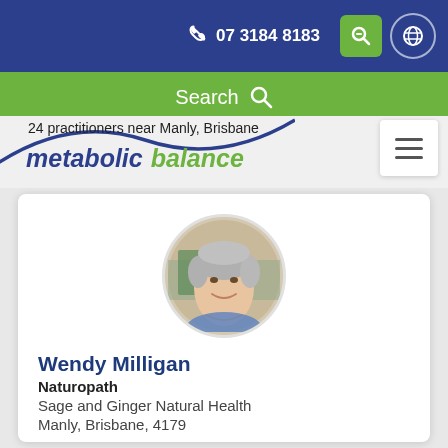07 3184 8183
Search
24 practitioners near Manly, Brisbane
metabolic balance
[Figure (photo): Circular profile photo of Wendy Milligan, a woman with short silver-grey hair, smiling, wearing a necklace, taken in what appears to be a health clinic or shop setting.]
Wendy Milligan
Naturopath
Sage and Ginger Natural Health
Manly, Brisbane, 4179
0 km
See Profile